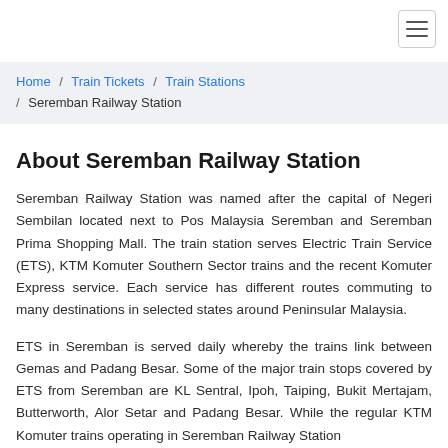Home / Train Tickets / Train Stations / Seremban Railway Station
About Seremban Railway Station
Seremban Railway Station was named after the capital of Negeri Sembilan located next to Pos Malaysia Seremban and Seremban Prima Shopping Mall. The train station serves Electric Train Service (ETS), KTM Komuter Southern Sector trains and the recent Komuter Express service. Each service has different routes commuting to many destinations in selected states around Peninsular Malaysia.
ETS in Seremban is served daily whereby the trains link between Gemas and Padang Besar. Some of the major train stops covered by ETS from Seremban are KL Sentral, Ipoh, Taiping, Bukit Mertajam, Butterworth, Alor Setar and Padang Besar. While the regular KTM Komuter trains operating in Seremban Railway Station